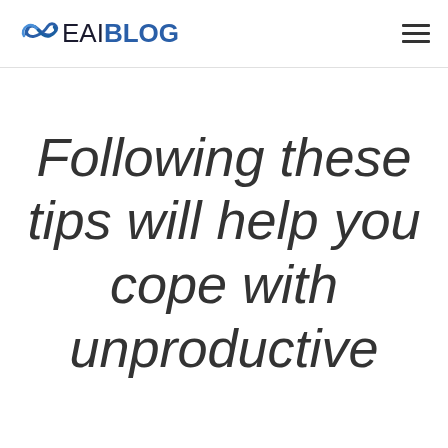EAI BLOG
Following these tips will help you cope with unproductive